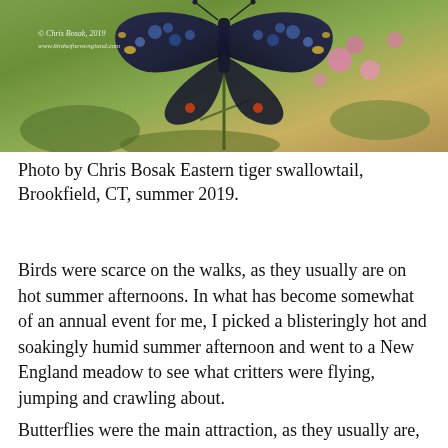[Figure (photo): Close-up photo of an Eastern tiger swallowtail butterfly perched on pink wildflowers with green foliage background. Watermark reads: © Chris Bosak, 2019 / www.birdsofnewengland.com]
Photo by Chris Bosak Eastern tiger swallowtail, Brookfield, CT, summer 2019.
Birds were scarce on the walks, as they usually are on hot summer afternoons. In what has become somewhat of an annual event for me, I picked a blisteringly hot and soakingly humid summer afternoon and went to a New England meadow to see what critters were flying, jumping and crawling about.
Butterflies were the main attraction, as they usually are, followed closely by dragonflies. Monarchs were the